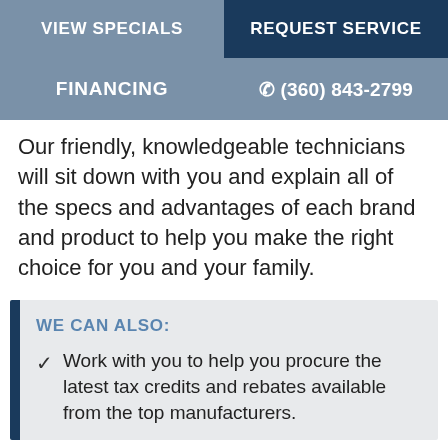VIEW SPECIALS
REQUEST SERVICE
FINANCING
(360) 843-2799
Our friendly, knowledgeable technicians will sit down with you and explain all of the specs and advantages of each brand and product to help you make the right choice for you and your family.
WE CAN ALSO:
Work with you to help you procure the latest tax credits and rebates available from the top manufacturers.